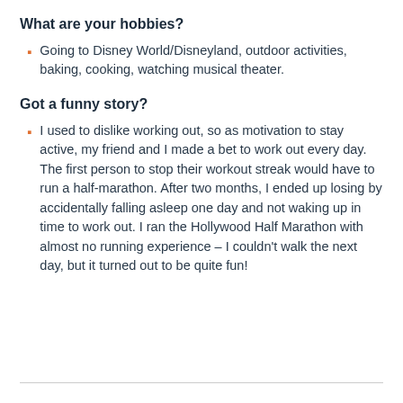What are your hobbies?
Going to Disney World/Disneyland, outdoor activities, baking, cooking, watching musical theater.
Got a funny story?
I used to dislike working out, so as motivation to stay active, my friend and I made a bet to work out every day. The first person to stop their workout streak would have to run a half-marathon. After two months, I ended up losing by accidentally falling asleep one day and not waking up in time to work out. I ran the Hollywood Half Marathon with almost no running experience – I couldn't walk the next day, but it turned out to be quite fun!